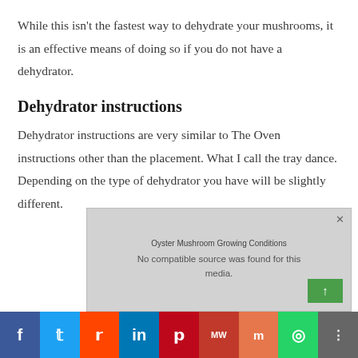While this isn't the fastest way to dehydrate your mushrooms, it is an effective means of doing so if you do not have a dehydrator.
Dehydrator instructions
Dehydrator instructions are very similar to The Oven instructions other than the placement. What I call the tray dance. Depending on the type of dehydrator you have will be slightly different.
[Figure (other): Video overlay popup titled 'Oyster Mushroom Growing Conditions' with message 'No compatible source was found for this media.' and a green upload button. Below is a social sharing bar with Facebook, Twitter, Reddit, LinkedIn, Pinterest, MeWe, Mix, WhatsApp, and Share buttons.]